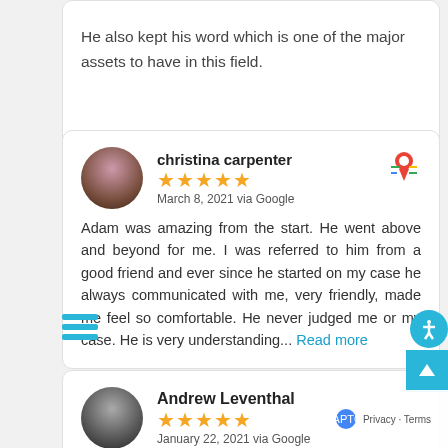He also kept his word which is one of the major assets to have in this field.
christina carpenter
★★★★★
March 8, 2021 via Google
Adam was amazing from the start. He went above and beyond for me. I was referred to him from a good friend and ever since he started on my case he always communicated with me, very friendly, made me feel so comfortable. He never judged me or my case. He is very understanding... Read more
Andrew Leventhal
★★★★★
January 22, 2021 via Google